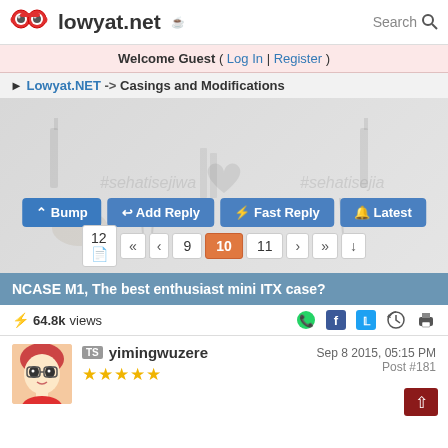lowyat.net — Search
Welcome Guest ( Log In | Register )
Lowyat.NET -> Casings and Modifications
[Figure (screenshot): Decorative watermark background with #sehatisejiwa pattern and Malaysian landmarks illustrations]
Bump | Add Reply | Fast Reply | Latest
Pagination: 12 pages, << < 9 10 11 > >> v
NCASE M1, The best enthusiast mini ITX case?
64.8k views
yimingwuzere — Sep 8 2015, 05:15 PM — Post #181